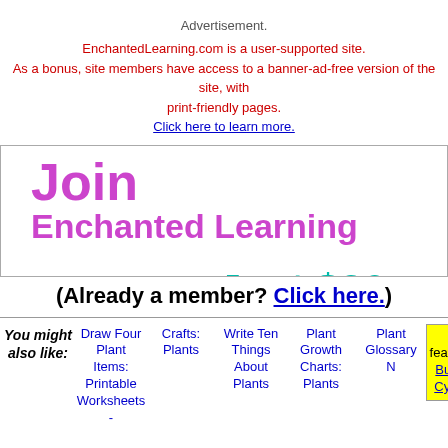Advertisement.
EnchantedLearning.com is a user-supported site. As a bonus, site members have access to a banner-ad-free version of the site, with print-friendly pages. Click here to learn more.
[Figure (other): Join Enchanted Learning promotional banner with price 'Just $20 pe...' and text 'Get access to ove... educational web...']
(Already a member? Click here.)
You might also like:
Draw Four Plant Items: Printable Worksheets -
Crafts: Plants
Write Ten Things About Plants
Plant Growth Charts: Plants
Plant Glossary N
Today's featured page: Butterfly Life Cycle Mobile